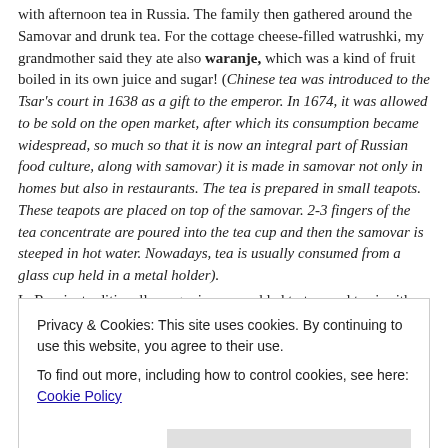with afternoon tea in Russia. The family then gathered around the Samovar and drunk tea. For the cottage cheese-filled watrushki, my grandmother said they ate also waranje, which was a kind of fruit boiled in its own juice and sugar! (Chinese tea was introduced to the Tsar's court in 1638 as a gift to the emperor. In 1674, it was allowed to be sold on the open market, after which its consumption became widespread, so much so that it is now an integral part of Russian food culture, along with samovar) it is made in samovar not only in homes but also in restaurants. The tea is prepared in small teapots. These teapots are placed on top of the samovar. 2-3 fingers of the tea concentrate are poured into the tea cup and then the samovar is steeped in hot water. Nowadays, tea is usually consumed from a glass cup held in a metal holder).
In Russia, traditionally, sugar is never added to tea, and tea is either
Privacy & Cookies: This site uses cookies. By continuing to use this website, you agree to their use. To find out more, including how to control cookies, see here: Cookie Policy
dough.